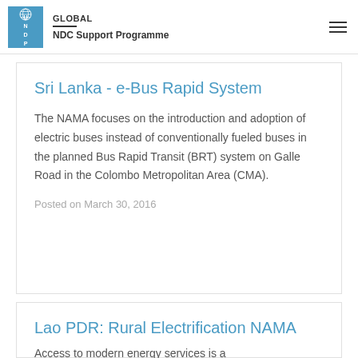GLOBAL
NDC Support Programme
Sri Lanka - e-Bus Rapid System
The NAMA focuses on the introduction and adoption of electric buses instead of conventionally fueled buses in the planned Bus Rapid Transit (BRT) system on Galle Road in the Colombo Metropolitan Area (CMA).
Posted on March 30, 2016
Lao PDR: Rural Electrification NAMA
Access to modern energy services is a prerequisite for sustainable development